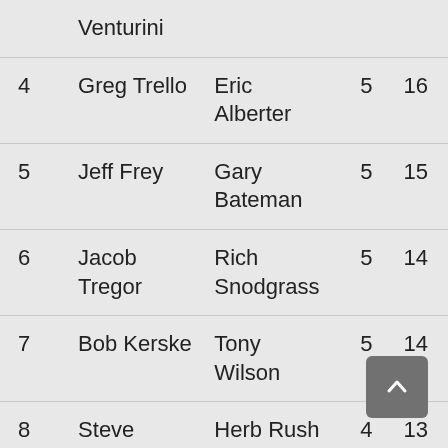| # | Name | Partner | Score | Extra |
| --- | --- | --- | --- | --- |
|  | Venturini |  |  |  |
| 4 | Greg Trello | Eric Alberter | 5 | 16 |
| 5 | Jeff Frey | Gary Bateman | 5 | 15 |
| 6 | Jacob Tregor | Rich Snodgrass | 5 | 14 |
| 7 | Bob Kerske | Tony Wilson | 5 | 14 |
| 8 | Steve Parker | Herb Rush | 4 | 13 |
| 9 | George Speed | Chuck Teegardin | 5 | 13 |
| 10 | John Perry | Paul Leonard | 4 | 12 |